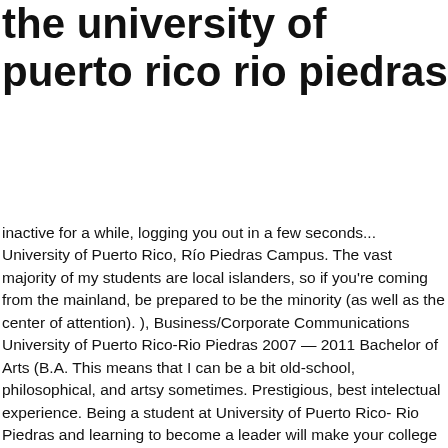the university of puerto rico rio piedras
inactive for a while, logging you out in a few seconds... University of Puerto Rico, Río Piedras Campus. The vast majority of my students are local islanders, so if you're coming from the mainland, be prepared to be the minority (as well as the center of attention). ), Business/Corporate Communications University of Puerto Rico-Rio Piedras 2007 — 2011 Bachelor of Arts (B.A. This means that I can be a bit old-school, philosophical, and artsy sometimes. Prestigious, best intelectual experience. Being a student at University of Puerto Rico- Rio Piedras and learning to become a leader will make your college experience even … University of Puerto Rico Rio Piedras follows a semester-based curriculum calendar system and offers choices in 77 majors. The University of Puerto Rico, Rio Piedras Campus hereby authorizes employers and workplace safety and health professionals to use this material, distributed by or through OSHA, in their workplaces or practices in accordance with the guidance contained in the material. https://www.niche.com/colleges/university-of-puerto-rico---rio-piedras It's not easy but it's rewarding. The opportunities gained are worth all the stress. You will learn more than just what you need to graduate and it's